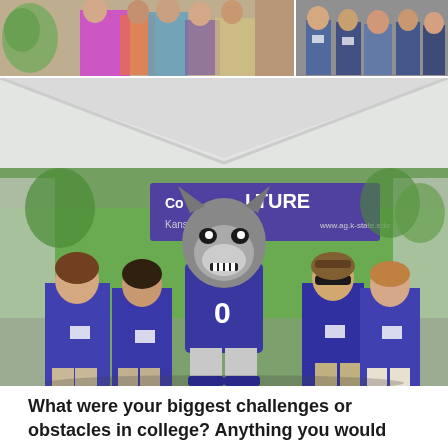[Figure (photo): Two photos at the top: left shows people at an indoor event with colorful clothing, right shows a group of people standing together]
[Figure (photo): Group photo of five people in purple Kansas State University polo shirts standing with the K-State Wildcats mascot (Willie the Wildcat) under a white tent with a College of Agriculture banner in the background]
What were your biggest challenges or obstacles in college? Anything you would change?